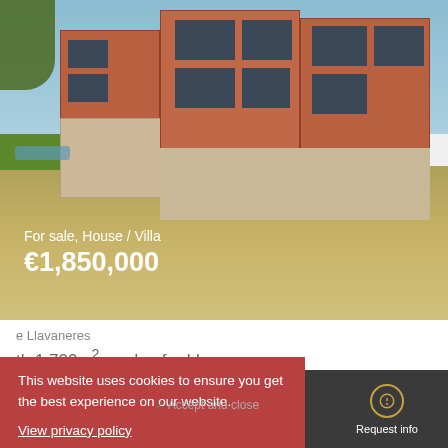[Figure (photo): Exterior photo of a modern brick and concrete house or villa with large windows, surrounded by grass and sandy ground under a blue sky]
For sale, House / Villa
€1,850,000
e Llavaneres
th 1,700m² garden for Llavaneres
2,000m²
This website uses cookies to ensure you get the best experience on our website. View privacy policy
Accept and close
Call us
WhatsApp
Request call
Request info